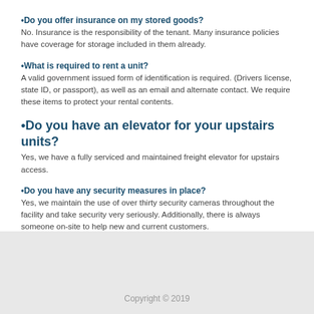•Do you offer insurance on my stored goods?
No. Insurance is the responsibility of the tenant. Many insurance policies have coverage for storage included in them already.
•What is required to rent a unit?
A valid government issued form of identification is required. (Drivers license, state ID, or passport), as well as an email and alternate contact. We require these items to protect your rental contents.
•Do you have an elevator for your upstairs units?
Yes, we have a fully serviced and maintained freight elevator for upstairs access.
•Do you have any security measures in place?
Yes, we maintain the use of over thirty security cameras throughout the facility and take security very seriously. Additionally, there is always someone on-site to help new and current customers.
Copyright © 2019